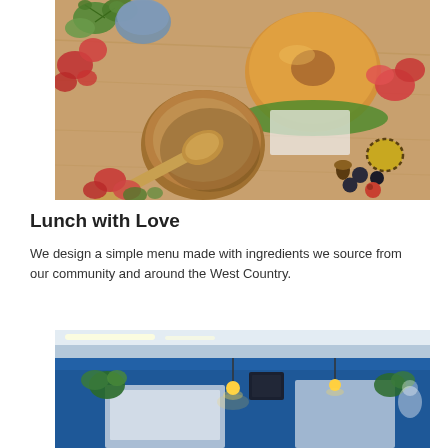[Figure (photo): Overhead view of a lunch spread on a wooden table: a bagel sandwich, a wooden bowl with a spoon, fresh herbs/greens, red flowers, olives, and small vegetables]
Lunch with Love
We design a simple menu made with ingredients we source from our community and around the West Country.
[Figure (photo): Interior of a cafe with blue walls, pendant lights, a counter with menu boards, and plants]